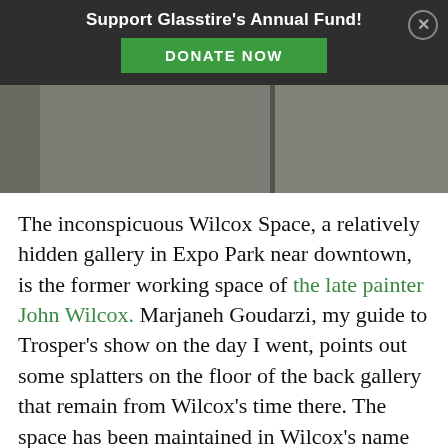Support Glasstire's Annual Fund!
DONATE NOW
[Figure (photo): Gray-toned abstract painting or gallery wall image split into two panels with slightly different gray tones]
The inconspicuous Wilcox Space, a relatively hidden gallery in Expo Park near downtown, is the former working space of the late painter John Wilcox. Marjaneh Goudarzi, my guide to Trosper’s show on the day I went, points out some splatters on the floor of the back gallery that remain from Wilcox’s time there. The space has been maintained in Wilcox’s name over the years by his brother